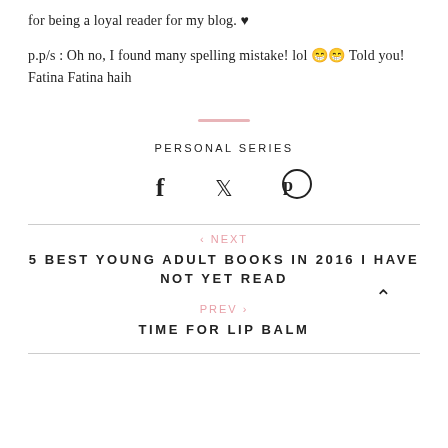for being a loyal reader for my blog. ♥
p.p/s : Oh no, I found many spelling mistake! lol 😁😁 Told you! Fatina Fatina haih
PERSONAL SERIES
[Figure (other): Social share icons: Facebook (f), Twitter (bird), Pinterest (P in circle)]
‹ NEXT
5 BEST YOUNG ADULT BOOKS IN 2016 I HAVE NOT YET READ
PREV ›
TIME FOR LIP BALM